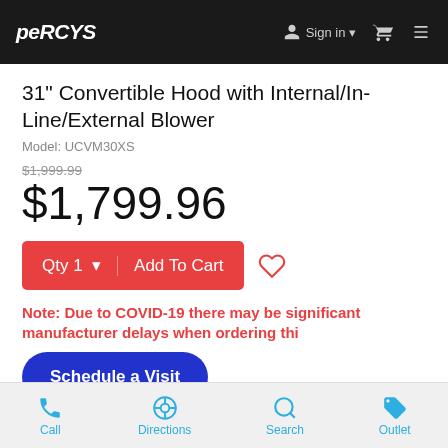Percy's — Sign in — Cart — Menu
31" Convertible Hood with Internal/In-Line/External Blower
Model: UCVM30XS
$1,999.99 (original price, struck through)
$1,799.96
Qty 1  Add To Cart
Note: Due to COVID-19 there may be significant manufacturer delays when ordering this
Schedule a Visit
Call  Directions  Search  Outlet